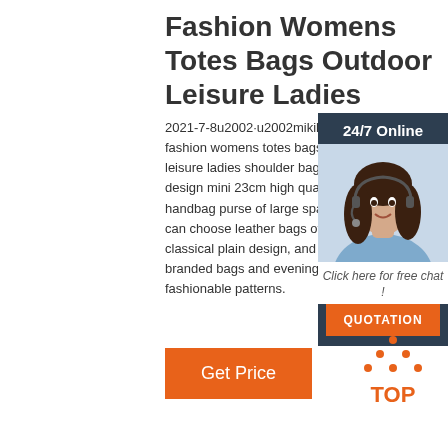Fashion Womens Totes Bags Outdoor Leisure Ladies
2021-7-8u2002·u2002mikih p fashion womens totes bags o leisure ladies shoulder bag st design mini 23cm high quality handbag purse of large space you can choose leather bags of classical plain design, and branded bags and evening ba fashionable patterns.
[Figure (photo): Chat widget showing a woman with headset, 24/7 Online label, Click here for free chat!, and QUOTATION button]
Get Price
[Figure (logo): TOP icon with orange dots arranged in triangle above the word TOP in orange]